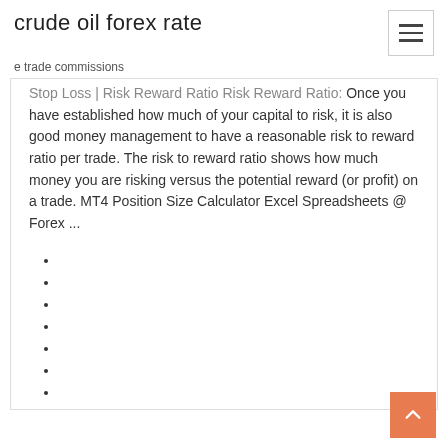crude oil forex rate
e trade commissions
Stop Loss | Risk Reward Ratio Risk Reward Ratio: Once you have established how much of your capital to risk, it is also good money management to have a reasonable risk to reward ratio per trade. The risk to reward ratio shows how much money you are risking versus the potential reward (or profit) on a trade. MT4 Position Size Calculator Excel Spreadsheets @ Forex ...